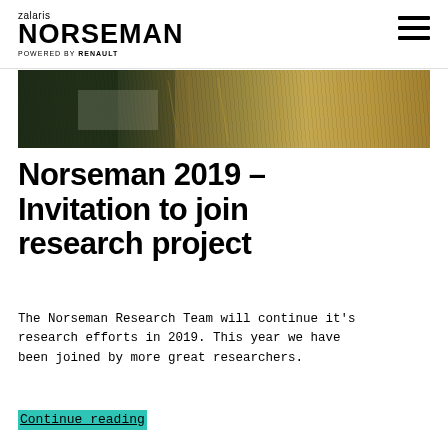zalaris NORSEMAN POWERED BY RENAULT
[Figure (photo): Landscape banner showing rocky/mossy terrain with golden straw and misty atmosphere, dark on left transitioning to golden-brown on right]
Norseman 2019 – Invitation to join research project
The Norseman Research Team will continue it's research efforts in 2019. This year we have been joined by more great researchers.
Continue reading